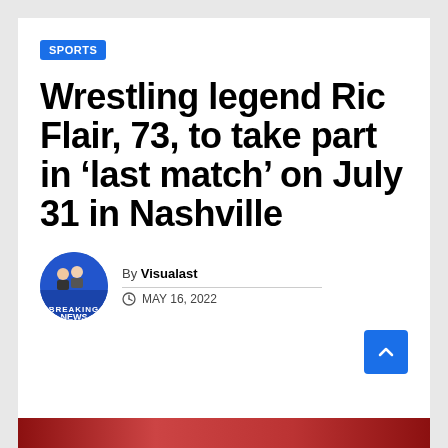SPORTS
Wrestling legend Ric Flair, 73, to take part in ‘last match’ on July 31 in Nashville
By Visualast
MAY 16, 2022